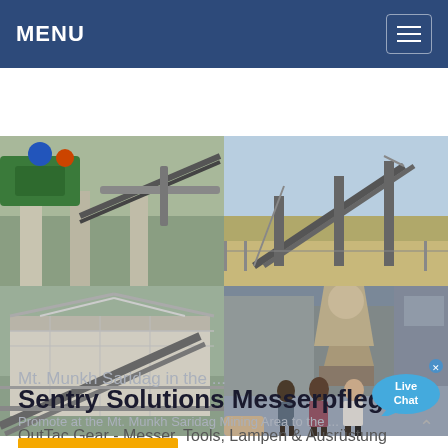MENU
[Figure (photo): 2x2 grid of industrial/mining facility photos: top-left shows green conveyor machinery and concrete structures; top-right shows outdoor conveyor belt system against blue sky; bottom-left shows large industrial building/warehouse with metal framework; bottom-right shows industrial machinery with cone crusher and three men posing in front of it. A 'Live Chat' bubble is overlaid on the bottom-right photo.]
Mt. Munkh Saridag in the ...
Sentry Solutions Messerpflege
Promote at the Mt. Munkh Saridag Mining Area to the ...
OutTac Gear - Messer, Tools, Lampen & Ausrüstung seit 1996 ! - 10% Neukundenrabatt